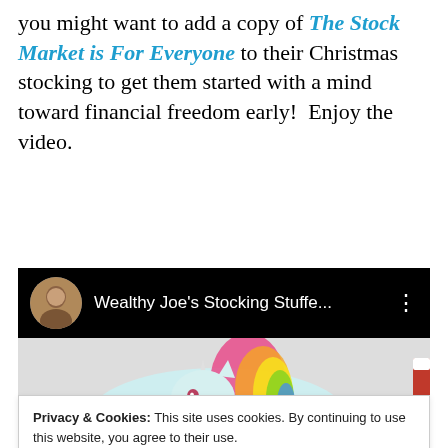you might want to add a copy of The Stock Market is For Everyone to their Christmas stocking to get them started with a mind toward financial freedom early!  Enjoy the video.
[Figure (screenshot): YouTube video thumbnail showing 'Wealthy Joe's Stocking Stuffe...' with a circular avatar of a man and a unicorn toy image below]
Privacy & Cookies: This site uses cookies. By continuing to use this website, you agree to their use.
To find out more, including how to control cookies, see here:
Cookie Policy
Close and accept